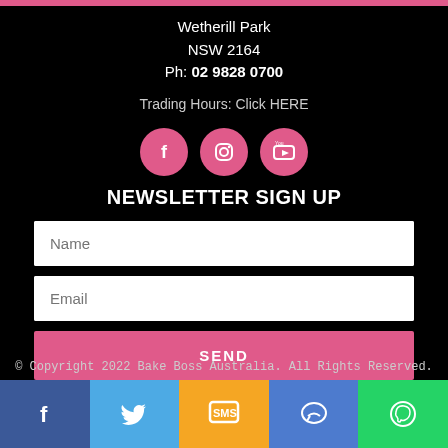Wetherill Park
NSW 2164
Ph: 02 9828 0700
Trading Hours: Click HERE
[Figure (infographic): Three pink circular social media icons: Facebook (f), Instagram (camera), YouTube (play button)]
NEWSLETTER SIGN UP
Name
Email
SEND
© Copyright 2022 Bake Boss Australia. All Rights Reserved.
[Figure (infographic): Bottom bar with five colored social sharing buttons: Facebook (dark blue), Twitter (blue), SMS (yellow/orange), Messenger (blue), WhatsApp (green)]